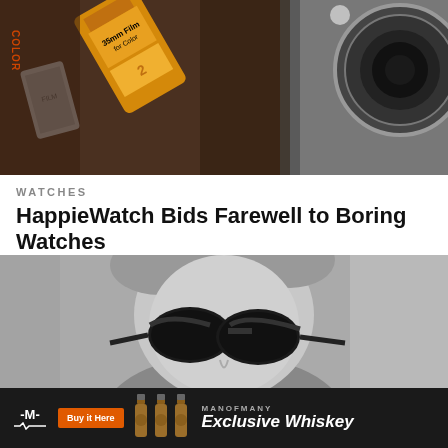[Figure (photo): Top image: close-up of a Kodak 35mm film canister in an orange/yellow wrapper, a vintage camera with leather case and lens visible]
WATCHES
HappieWatch Bids Farewell to Boring Watches
[Figure (photo): Black and white portrait photo of a man wearing dark aviator sunglasses, looking to the side]
[Figure (infographic): Advertisement banner: Man of Many logo, Buy it Here button, whiskey bottles image, MANOFMANY Exclusive Whiskey text]